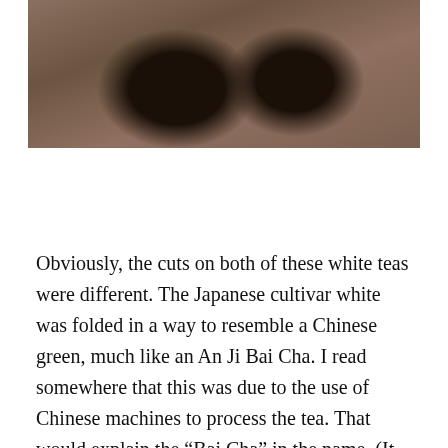[Figure (photo): Close-up photograph of what appears to be tea leaves or a natural texture, dark brown and black tones, partially cropped at top of page]
Obviously, the cuts on both of these white teas were different. The Japanese cultivar white was folded in a way to resemble a Chinese green, much like an An Ji Bai Cha. I read somewhere that this was due to the use of Chinese machines to process the tea. That would explain the “Bai Cha” in the name. (It literally means “white tea”, folks.)